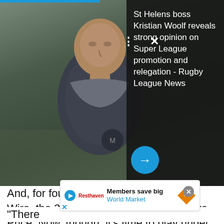[Figure (photo): A man in a dark jacket looking downward, photographed outdoors. Overlaid with a dark sidebar panel on the right showing text about St Helens boss Kristian Woolf, and a blue progress bar at the top.]
St Helens boss Kristian Woolf reveals strong opinion on Super League promotion and relegation - Rugby League News
And, for four of those ten years at the Wire, the 33-year-old played under Steve Price. Now, though, it's time to play under former Castleford Tigers boss Daryl Powell and he's looking forward to the challenge.
“I think it’s going to be exciting, if you look at his track record in the past it’s been absolutely fantastic,” Ratchford told Serious About Rugby Leagu—
“There                                                                        year